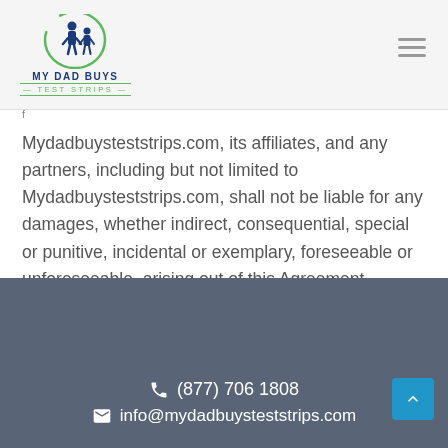[Figure (logo): My Dad Buys Test Strips logo with icon of adult and child figures inside a circular ring, blue and green colors]
Mydadbuysteststrips.com, its affiliates, and any partners, including but not limited to Mydadbuysteststrips.com, shall not be liable for any damages, whether indirect, consequential, special or punitive, incidental or exemplary, foreseeable or unforeseeable, arising out of this Agreement.
(877) 706 1808  info@mydadbuysteststrips.com